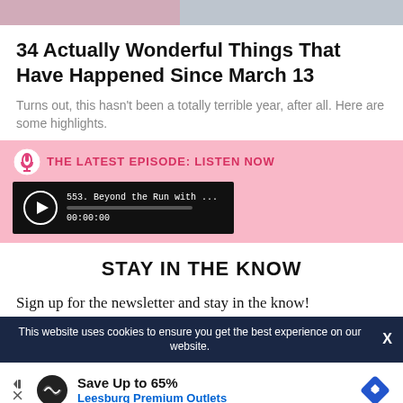[Figure (photo): Top portion of a photo showing people, partially cropped at the top of the page]
34 Actually Wonderful Things That Have Happened Since March 13
Turns out, this hasn't been a totally terrible year, after all. Here are some highlights.
THE LATEST EPISODE: LISTEN NOW
[Figure (screenshot): Podcast player widget showing episode 553. Beyond the Run with ... at timestamp 00:00:00]
STAY IN THE KNOW
Sign up for the newsletter and stay in the know!
This website uses cookies to ensure you get the best experience on our website.
[Figure (infographic): Advertisement banner: Save Up to 65% Leesburg Premium Outlets]